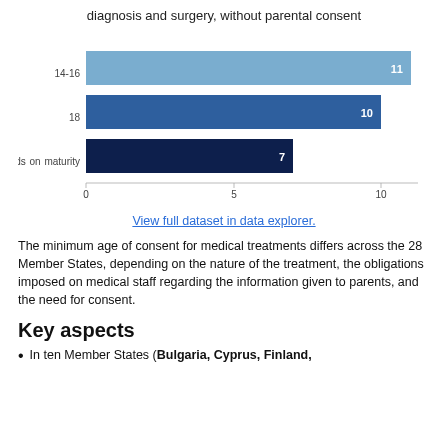diagnosis and surgery, without parental consent
[Figure (bar-chart): diagnosis and surgery, without parental consent]
View full dataset in data explorer.
The minimum age of consent for medical treatments differs across the 28 Member States, depending on the nature of the treatment, the obligations imposed on medical staff regarding the information given to parents, and the need for consent.
Key aspects
In ten Member States (Bulgaria, Cyprus, Finland,